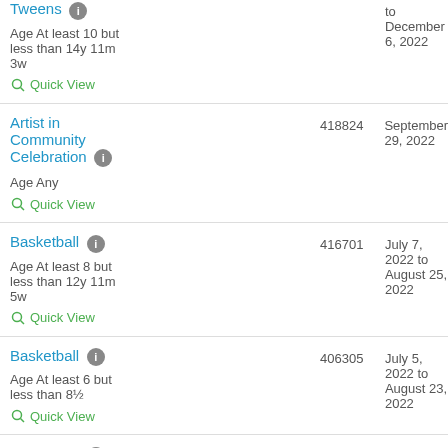Tweens — Age At least 10 but less than 14y 11m 3w — Quick View
to December 6, 2022
Artist in Community Celebration — 418824 — September 29, 2022 — Age Any — Quick View
Basketball — 416701 — July 7, 2022 to August 25, 2022 — Age At least 8 but less than 12y 11m 5w — Quick View
Basketball — 406305 — July 5, 2022 to August 23, 2022 — Age At least 6 but less than 8½ — Quick View
Basketball — 406306 — July 7, 2022 to August 25, 2022